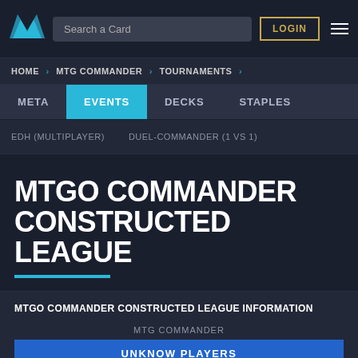Search a Card | LOGIN
HOME > MTG COMMANDER > TOURNAMENTS >
META | EVENTS | DECKS | STAPLES
EDH (MULTIPLAYER) | DUEL-COMMANDER (1 VS 1)
MTGO COMMANDER CONSTRUCTED LEAGUE
MTGO COMMANDER CONSTRUCTED LEAGUE INFORMATION
MTG COMMANDER
UNKNOW PLAYERS
2017-06-22
MTGO